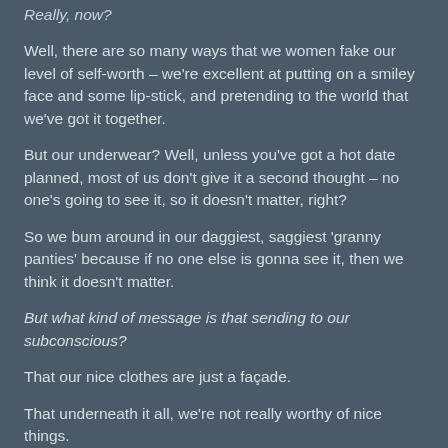Really, now?
Well, there are so many ways that we women fake our level of self-worth – we're excellent at putting on a smiley face and some lip-stick, and pretending to the world that we've got it together.
But our underwear? Well, unless you've got a hot date planned, most of us don't give it a second thought – no one's going to see it, so it doesn't matter, right?
So we bum around in our daggiest, saggiest 'granny panties' because if no one else is gonna see it, then we think it doesn't matter.
But what kind of message is that sending to our subconscious?
That our nice clothes are just a façade.
That underneath it all, we're not really worthy of nice things.